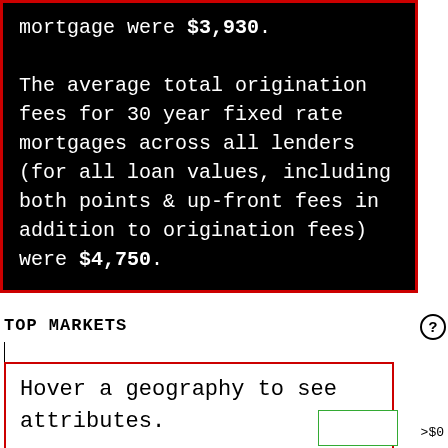mortgage were $3,930. The average total origination fees for 30 year fixed rate mortgages across all lenders (for all loan values, including both points & up-front fees in addition to origination fees) were $4,750.
TOP MARKETS
Hover a geography to see attributes.